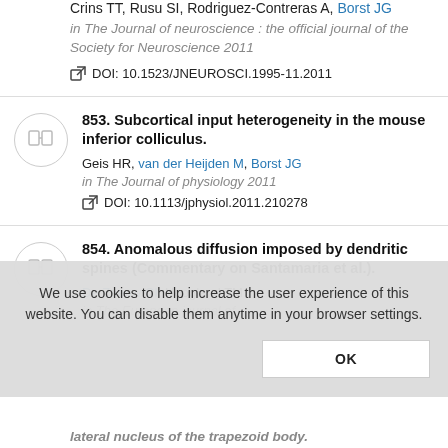Crins TT, Rusu SI, Rodriguez-Contreras A, Borst JG
in The Journal of neuroscience : the official journal of the Society for Neuroscience 2011
DOI: 10.1523/JNEUROSCI.1995-11.2011
853. Subcortical input heterogeneity in the mouse inferior colliculus.
Geis HR, van der Heijden M, Borst JG
in The Journal of physiology 2011
DOI: 10.1113/jphysiol.2011.210278
854. Anomalous diffusion imposed by dendritic spines (Commentary on Santamaria et al.).
De Zeeuw CI, Hoogland TM
in The European journal of
We use cookies to help increase the user experience of this website. You can disable them anytime in your browser settings.
OK
lateral nucleus of the trapezoid body.